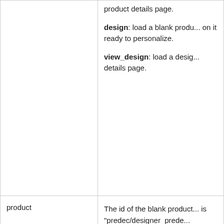| Parameter | Description |
| --- | --- |
|  | design: load a blank produ... on it ready to personalize.

view_design: load a desig... details page. |
| product | The id of the blank product... is "predec/designer_prede... decorated product. Not us... "view_design". |
| size | The id of the size |
| color_id | The id of the color.

[note] Pre-v8.5 custome... note that the "col... been deprecated... use "color_id" fro... |